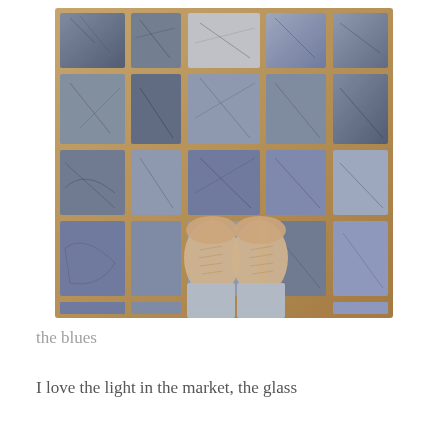[Figure (photo): Overhead view looking down at a person's feet wearing beige/tan canvas sneakers and light blue jeans, standing on blue-grey cracked stone tile pavement. The tiles are rectangular, with a golden/rust colored grout between them. The photo has a warm, slightly vintage filter.]
the blues
I love the light in the market, the glass